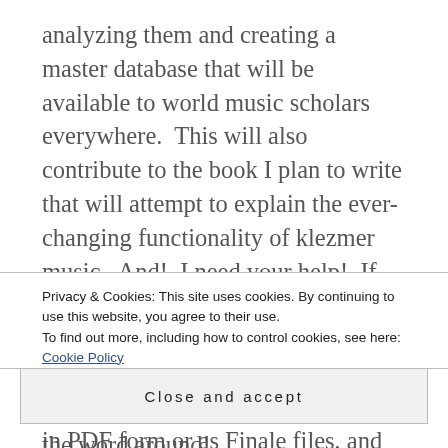analyzing them and creating a master database that will be available to world music scholars everywhere.  This will also contribute to the book I plan to write that will attempt to explain the ever-changing functionality of klezmer music.  And!  I need your help!  If you have tunes that are already notated but not available in major collections (most of which I have already in my possession), whether in PDF form or as Finale files, and would be willing to send them my way, I would be appreciative.  Simply fill out
Privacy & Cookies: This site uses cookies. By continuing to use this website, you agree to their use.
To find out more, including how to control cookies, see here: Cookie Policy
Close and accept
the word around!